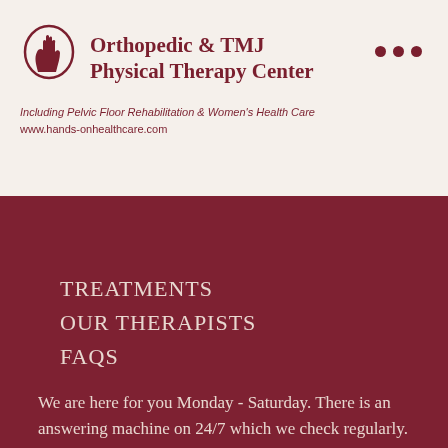Orthopedic & TMJ Physical Therapy Center
Including Pelvic Floor Rehabilitation & Women's Health Care
www.hands-onhealthcare.com
TREATMENTS
OUR THERAPISTS
FAQS
RESOURCES
NEW PATIENT FORMS
CONTACT
We are here for you Monday - Saturday.  There is an answering machine on 24/7 which we check regularly.